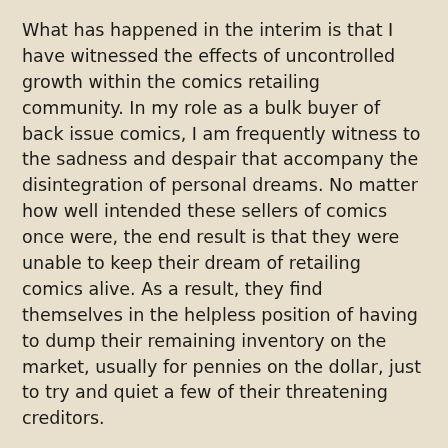What has happened in the interim is that I have witnessed the effects of uncontrolled growth within the comics retailing community. In my role as a bulk buyer of back issue comics, I am frequently witness to the sadness and despair that accompany the disintegration of personal dreams. No matter how well intended these sellers of comics once were, the end result is that they were unable to keep their dream of retailing comics alive. As a result, they find themselves in the helpless position of having to dump their remaining inventory on the market, usually for pennies on the dollar, just to try and quiet a few of their threatening creditors.
What my experience in these sad situations has burned into my psyche is that not everyone is ready to own their own business. More importantly, even within the small population that pass the initial hurdle of having the abilities to become an entrepreneur, even fewer have the personality traits and skills required to retail comics. I remember reading a Small Business Administration (SBA) pamphlet 30 years ago which laid out the hard facts that 70% of new businesses started in America fail within three